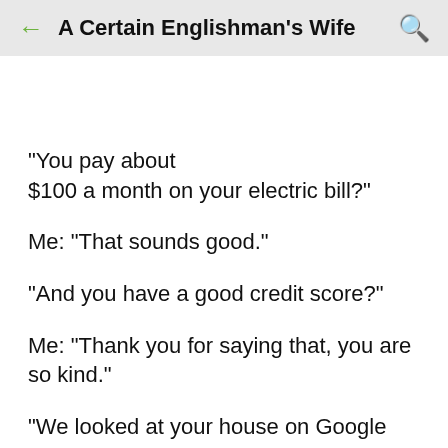A Certain Englishman's Wife
"You pay about $100 a month on your electric bill?"
Me: "That sounds good."
"And you have a good credit score?"
Me: "Thank you for saying that, you are so kind."
"We looked at your house on Google maps and can see that your roof is